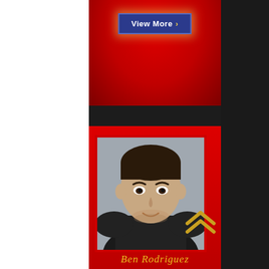[Figure (other): A red-themed profile card page with a 'View More >' button at top, a black divider band, a portrait photo of a young man in a black shirt on a red background, a gold double-chevron logo, and a gold cursive name 'Ben Rodriguez' at the bottom.]
View More >
Ben Rodriguez